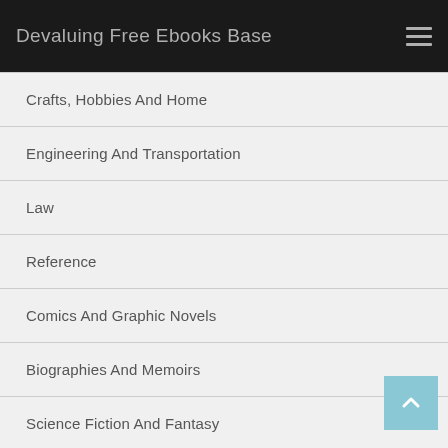Devaluing Free Ebooks Base
Crafts, Hobbies And Home
Engineering And Transportation
Law
Reference
Comics And Graphic Novels
Biographies And Memoirs
Science Fiction And Fantasy
Arts And Photography
Cookbooks, Food And Wine